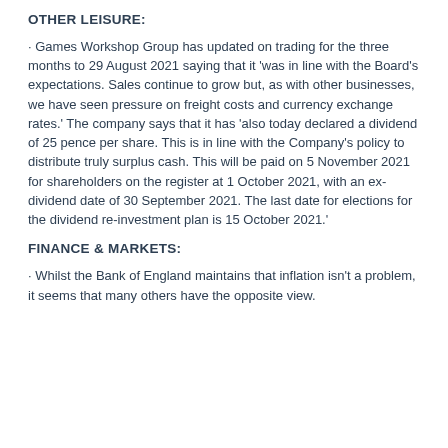OTHER LEISURE:
· Games Workshop Group has updated on trading for the three months to 29 August 2021 saying that it 'was in line with the Board's expectations. Sales continue to grow but, as with other businesses, we have seen pressure on freight costs and currency exchange rates.' The company says that it has 'also today declared a dividend of 25 pence per share. This is in line with the Company's policy to distribute truly surplus cash. This will be paid on 5 November 2021 for shareholders on the register at 1 October 2021, with an ex-dividend date of 30 September 2021. The last date for elections for the dividend re-investment plan is 15 October 2021.'
FINANCE & MARKETS:
· Whilst the Bank of England maintains that inflation isn't a problem, it seems that many others have the opposite view.